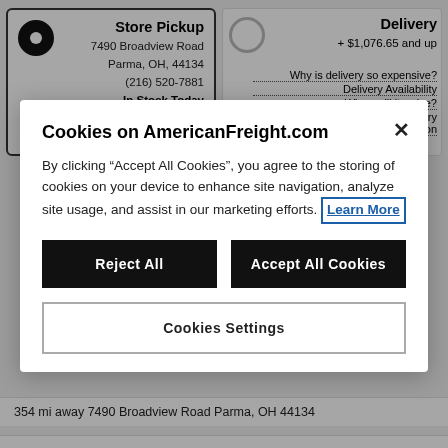Store Pickup
7490 Broadview Road
Parma, OH, 44134
(216) 520-7881
In Stock Today
Curbside Pickup Available
Learn More
Delivery
+ $1,076.65 and up
Why is delivery so expensive?
Delivery Availability
When will it arrive?
Shipping and Delivery Information
Cookies on AmericanFreight.com
By clicking “Accept All Cookies”, you agree to the storing of cookies on your device to enhance site navigation, analyze site usage, and assist in our marketing efforts. Learn More
Reject All
Accept All Cookies
Cookies Settings
354 mi away 7490 Broadview Road Parma, OH 44134